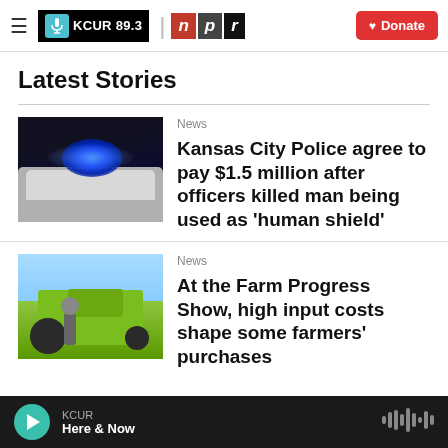KCUR 89.3 | npr | Donate
Latest Stories
[Figure (photo): Police car with blue flashing lights on top, dark background]
News
Kansas City Police agree to pay $1.5 million after officers killed man being used as 'human shield'
[Figure (photo): Person standing in front of large green farm tractor at the Farm Progress Show]
News
At the Farm Progress Show, high input costs shape some farmers' purchases
KCUR Here & Now